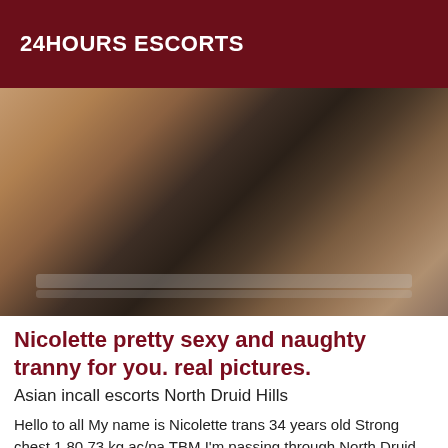24HOURS ESCORTS
[Figure (photo): Close-up photo of a person's torso wearing dark lingerie, dimly lit in warm tones]
Nicolette pretty sexy and naughty tranny for you. real pictures.
Asian incall escorts North Druid Hills
Hello to all My name is Nicolette trans 34 years old Strong chest 1,80 73 kg ac/pa TBM I'm passing through North Druid Hills jonquieres ... call me back quickly.